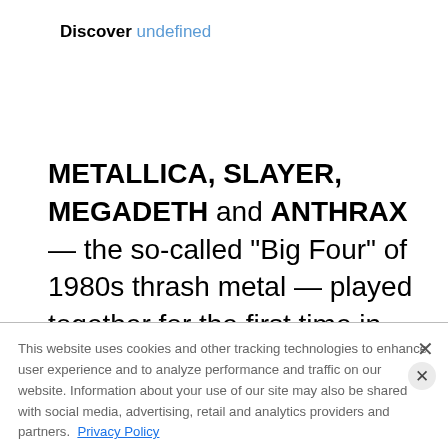Discover undefined
METALLICA, SLAYER, MEGADETH and ANTHRAX — the so-called "Big Four" of 1980s thrash metal — played together for the first time in history this past Wednesday night (June 16) in
This website uses cookies and other tracking technologies to enhance user experience and to analyze performance and traffic on our website. Information about your use of our site may also be shared with social media, advertising, retail and analytics providers and partners. Privacy Policy
[Figure (screenshot): Advertisement banner for Alter Bridge Pawns & Kings concert with Mammoth WVH, promoting ticket sales]